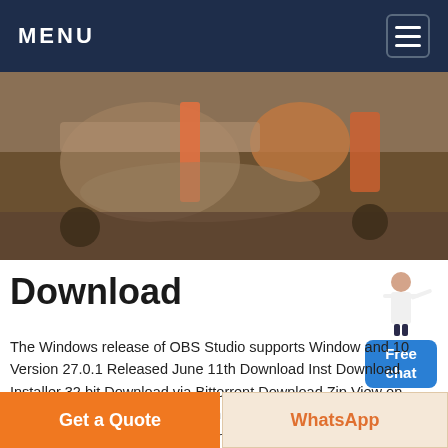MENU
[Figure (photo): Industrial machinery with gravel/aggregate processing equipment, overhead view]
Download
[Figure (illustration): Free chat widget: woman figure pointing to a blue badge reading 'Free chat']
The Windows release of OBS Studio supports Window and 10 Version 27.0.1 Released June 11th Download Inst Download Installer 32 bit Download via Bittorrent Download Zip View on GitHub Previous Releases Downloads powered b The macOS release of OBS Studio supports macOS 10
Chatear en línea
[Figure (photo): Quarry or mining site with large industrial crushing/screening equipment and a loader vehicle]
Get a Quote
WhatsApp